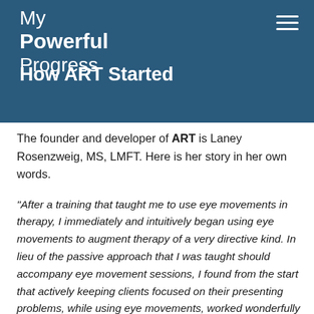My Powerful Progress
How ART Started
The founder and developer of ART is Laney Rosenzweig, MS, LMFT. Here is her story in her own words.
"After a training that taught me to use eye movements in therapy, I immediately and intuitively began using eye movements to augment therapy of a very directive kind. In lieu of the passive approach that I was taught should accompany eye movement sessions, I found from the start that actively keeping clients focused on their presenting problems, while using eye movements, worked wonderfully well for me and my clients. Actually, the results of the directive interventions I used